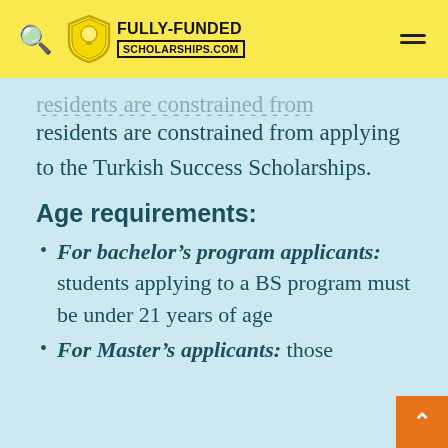FULLY-FUNDED SCHOLARSHIPS.COM
residents are constrained from applying to the Turkish Success Scholarships.
Age requirements:
For bachelor's program applicants: students applying to a BS program must be under 21 years of age
For Master's applicants: those